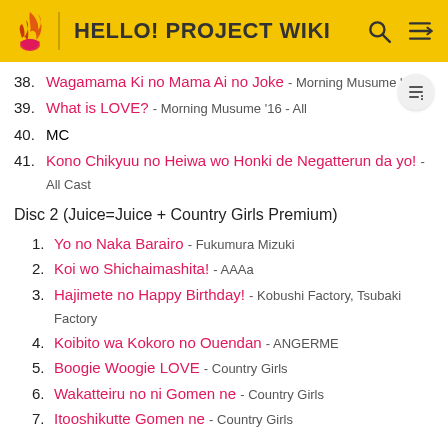HELLO! PROJECT WIKI
38. Wagamama Ki no Mama Ai no Joke - Morning Musume '16
39. What is LOVE? - Morning Musume '16 - All
40. MC
41. Kono Chikyuu no Heiwa wo Honki de Negatterun da yo! - All Cast
Disc 2 (Juice=Juice + Country Girls Premium)
1. Yo no Naka Barairo - Fukumura Mizuki
2. Koi wo Shichaimashita! - AAAa
3. Hajimete no Happy Birthday! - Kobushi Factory, Tsubaki Factory
4. Koibito wa Kokoro no Ouendan - ANGERME
5. Boogie Woogie LOVE - Country Girls
6. Wakatteiru no ni Gomen ne - Country Girls
7. Itooshikutte Gomen ne - Country Girls